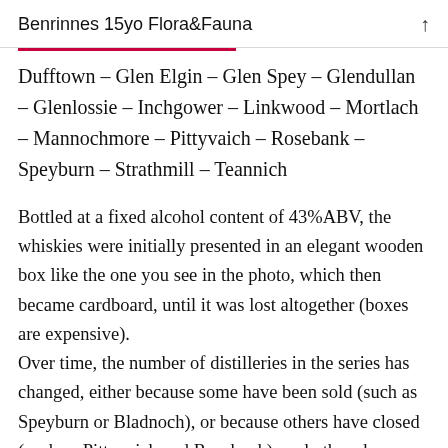Benrinnes 15yo Flora&Fauna
Dufftown – Glen Elgin – Glen Spey – Glendullan – Glenlossie – Inchgower – Linkwood – Mortlach – Mannochmore – Pittyvaich – Rosebank – Speyburn – Strathmill – Teannich
Bottled at a fixed alcohol content of 43%ABV, the whiskies were initially presented in an elegant wooden box like the one you see in the photo, which then became cardboard, until it was lost altogether (boxes are expensive).
Over time, the number of distilleries in the series has changed, either because some have been sold (such as Speyburn or Bladnoch), or because others have closed (such as Pittyvaich and Rosebank), and others have been